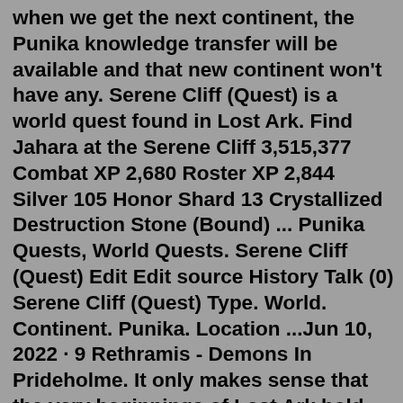when we get the next continent, the Punika knowledge transfer will be available and that new continent won't have any. Serene Cliff (Quest) is a world quest found in Lost Ark. Find Jahara at the Serene Cliff 3,515,377 Combat XP 2,680 Roster XP 2,844 Silver 105 Honor Shard 13 Crystallized Destruction Stone (Bound) ... Punika Quests, World Quests. Serene Cliff (Quest) Edit Edit source History Talk (0) Serene Cliff (Quest) Type. World. Continent. Punika. Location ...Jun 10, 2022 · 9 Rethramis - Demons In Prideholme. It only makes sense that the very beginnings of Lost Ark hold some of the best story quests in the game. To kick off Lost Ark with a bang, we start to get to know Armen and the people of Prideholme, only to be thrown into the Demons In Prideholme quest. With the city on fire and demons attacking the civilians ... Jul 20, 2022 · Best Mage Character for Punikas Pass: Bard - If you would like to have support starting at a higher ilvl, Bard is the best choice. Dps have an easier time plowing through t1 and t2 and tower is actually a